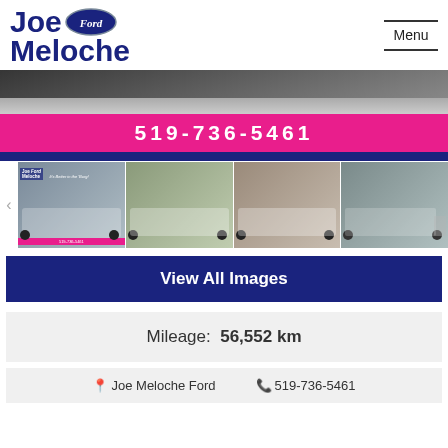[Figure (logo): Joe Meloche Ford logo with Ford oval badge]
Menu
[Figure (photo): Partial view of a truck tire/wheel on pavement]
519-736-5461
[Figure (photo): Four thumbnail images of a white Ford F-150 Raptor truck from various angles]
View All Images
Mileage:  56,552 km
Joe Meloche Ford    519-736-5461